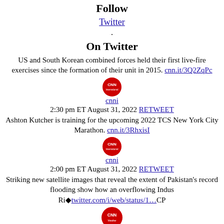Follow
Twitter
.
On Twitter
US and South Korean combined forces held their first live-fire exercises since the formation of their unit in 2015. cnn.it/3Q2ZqPc
[Figure (logo): CNN International red circle logo]
cnni
2:30 pm ET August 31, 2022 RETWEET
Ashton Kutcher is training for the upcoming 2022 TCS New York City Marathon. cnn.it/3RhxisI
[Figure (logo): CNN International red circle logo]
cnni
2:00 pm ET August 31, 2022 RETWEET
Striking new satellite images that reveal the extent of Pakistan's record flooding show how an overflowing Indus Ri■twitter.com/i/web/status/1…CP
[Figure (logo): CNN Weather red circle logo]
CNNweather
1:18 pm ET August 31, 2022 RETWEET
"This is so embarrassing." A woman had to call 911 while stuck